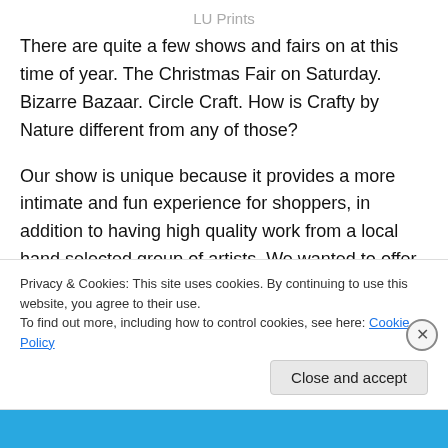LU Prints
There are quite a few shows and fairs on at this time of year. The Christmas Fair on Saturday. Bizarre Bazaar. Circle Craft. How is Crafty by Nature different from any of those?
Our show is unique because it provides a more intimate and fun experience for shoppers, in addition to having high quality work from a local hand selected group of artists. We wanted to offer this type of show in Pemberton, as nothing like this has been established here in the past.
Privacy & Cookies: This site uses cookies. By continuing to use this website, you agree to their use.
To find out more, including how to control cookies, see here: Cookie Policy
Close and accept